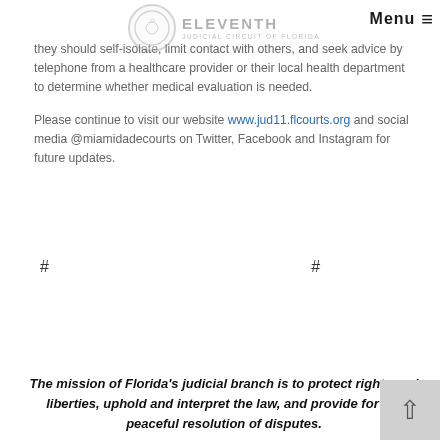cough or difficulty breathing. If they feel feverish or develop measured fever, cough or difficulty breathing during the self-monitoring period, they should self-isolate, limit contact with others, and seek advice by telephone from a healthcare provider or their local health department to determine whether medical evaluation is needed.
Please continue to visit our website www.jud11.flcourts.org and social media @miamidadecourts on Twitter, Facebook and Instagram for future updates.
# # #
The mission of Florida's judicial branch is to protect rights and liberties, uphold and interpret the law, and provide for the peaceful resolution of disputes.